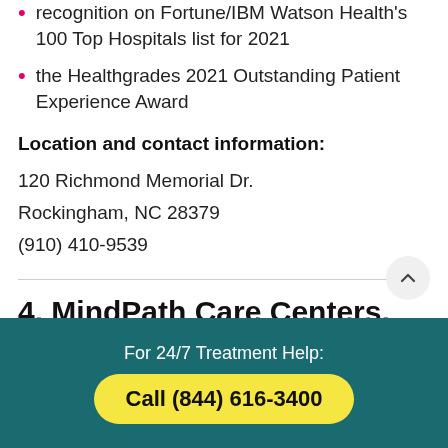recognition on Fortune/IBM Watson Health's 100 Top Hospitals list for 2021
the Healthgrades 2021 Outstanding Patient Experience Award
Location and contact information:
120 Richmond Memorial Dr.
Rockingham, NC 28379
(910) 410-9539
4. MindPath Care Centers,
For 24/7 Treatment Help:
Call (844) 616-3400